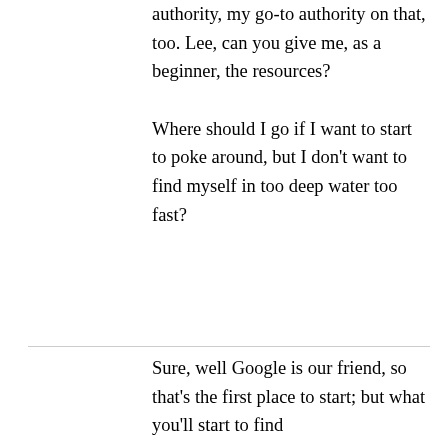authority, my go-to authority on that, too. Lee, can you give me, as a beginner, the resources?

Where should I go if I want to start to poke around, but I don't want to find myself in too deep water too fast?
Sure, well Google is our friend, so that's the first place to start; but what you'll start to find